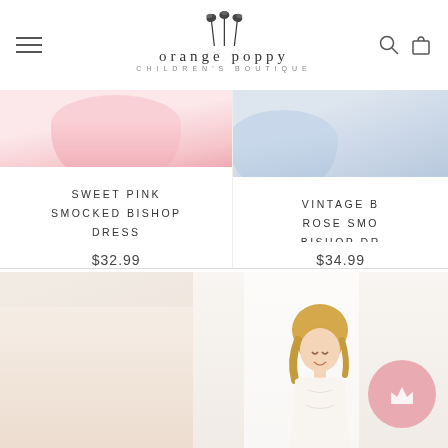[Figure (logo): Orange Poppy Children's Boutique logo with poppy flower illustration above the text]
[Figure (photo): Sweet Pink Smocked Bishop Dress product photo showing pink ruffled dress]
SWEET PINK SMOCKED BISHOP DRESS
$32.99
[Figure (photo): Vintage Blue Rose Smocked Bishop Dress product photo partially visible on right side]
VINTAGE B... ROSE SMO... BISHOP DR...
$34.99
[Figure (photo): Bottom section showing two children lifestyle photos side by side, right photo shows smiling girl with pink circle crown icon overlay]